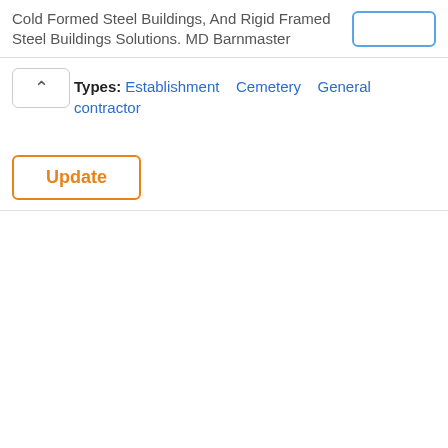Cold Formed Steel Buildings, And Rigid Framed Steel Buildings Solutions. MD Barnmaster
Types: Establishment   Cemetery   General contractor
Update